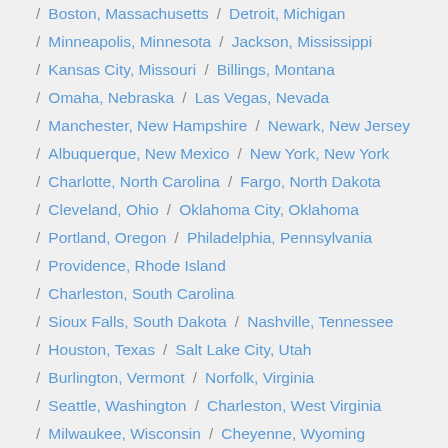Boston, Massachusetts / Detroit, Michigan
Minneapolis, Minnesota / Jackson, Mississippi
Kansas City, Missouri / Billings, Montana
Omaha, Nebraska / Las Vegas, Nevada
Manchester, New Hampshire / Newark, New Jersey
Albuquerque, New Mexico / New York, New York
Charlotte, North Carolina / Fargo, North Dakota
Cleveland, Ohio / Oklahoma City, Oklahoma
Portland, Oregon / Philadelphia, Pennsylvania
Providence, Rhode Island
Charleston, South Carolina
Sioux Falls, South Dakota / Nashville, Tennessee
Houston, Texas / Salt Lake City, Utah
Burlington, Vermont / Norfolk, Virginia
Seattle, Washington / Charleston, West Virginia
Milwaukee, Wisconsin / Cheyenne, Wyoming
Mexico
Kosher places and synagogues wordlwide